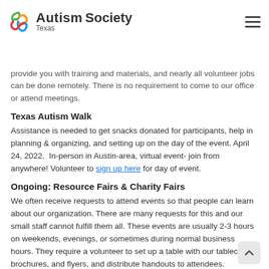Autism Society Texas
time and energy. Volunteers are needed for the following events and activities. We'll provide you with training and materials, and nearly all volunteer jobs can be done remotely. There is no requirement to come to our office or attend meetings.
Texas Autism Walk
Assistance is needed to get snacks donated for participants, help in planning & organizing, and setting up on the day of the event. April 24, 2022.  In-person in Austin-area, virtual event- join from anywhere! Volunteer to sign up here for day of event.
Ongoing: Resource Fairs & Charity Fairs
We often receive requests to attend events so that people can learn about our organization. There are many requests for this and our small staff cannot fulfill them all. These events are usually 2-3 hours on weekends, evenings, or sometimes during normal business hours. They require a volunteer to set up a table with our tablecloth, brochures, and flyers, and distribute handouts to attendees.